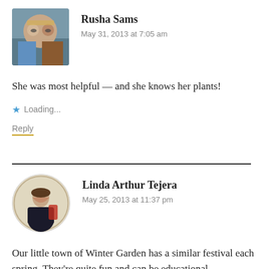[Figure (photo): Avatar photo of Rusha Sams — a couple outdoors with trees in background]
Rusha Sams
May 31, 2013 at 7:05 am
She was most helpful — and she knows her plants!
Loading...
Reply
[Figure (illustration): Circular illustration of Linda Arthur Tejera — vintage-style woman in black dress]
Linda Arthur Tejera
May 25, 2013 at 11:37 pm
Our little town of Winter Garden has a similar festival each spring. They're quite fun and can be educational